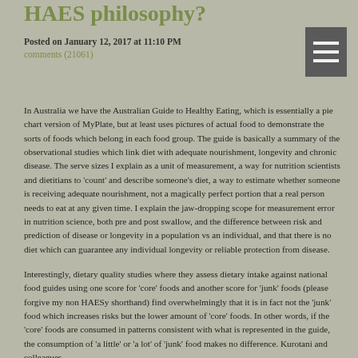HAES philosophy?
Posted on January 12, 2017 at 11:10 PM
comments (21061)
In Australia we have the Australian Guide to Healthy Eating, which is essentially a pie chart version of MyPlate, but at least uses pictures of actual food to demonstrate the sorts of foods which belong in each food group. The guide is basically a summary of the observational studies which link diet with adequate nourishment, longevity and chronic disease. The serve sizes I explain as a unit of measurement, a way for nutrition scientists and dietitians to 'count' and describe someone's diet, a way to estimate whether someone is receiving adequate nourishment, not a magically perfect portion that a real person needs to eat at any given time. I explain the jaw-dropping scope for measurement error in nutrition science, both pre and post swallow, and the difference between risk and prediction of disease or longevity in a population vs an individual, and that there is no diet which can guarantee any individual longevity or reliable protection from disease.
Interestingly, dietary quality studies where they assess dietary intake against national food guides using one score for 'core' foods and another score for 'junk' foods (please forgive my non HAESy shorthand) find overwhelmingly that it is in fact not the 'junk' food which increases risks but the lower amount of 'core' foods. In other words, if the 'core' foods are consumed in patterns consistent with what is represented in the guide, the consumption of 'a little' or 'a lot' of 'junk' food makes no difference. Kurotani and colleagues